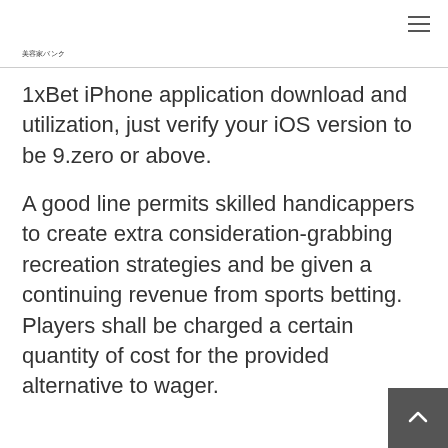美容家バンク
1xBet iPhone application download and utilization, just verify your iOS version to be 9.zero or above.
A good line permits skilled handicappers to create extra consideration-grabbing recreation strategies and be given a continuing revenue from sports betting. Players shall be charged a certain quantity of cost for the provided alternative to wager.